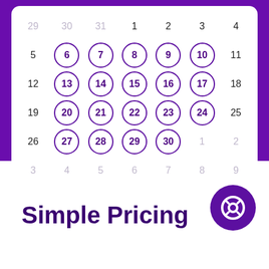[Figure (illustration): Calendar showing a month with weekday dates 6-10, 13-17, 20-24, 27-30 highlighted with purple circles. Dates 29,30,31 at top and 1,2,3,4,11,12,18,19,25,26 un-circled. Bottom row shows next month 3-9 in muted gray. Calendar sits on purple background.]
Simple Pricing